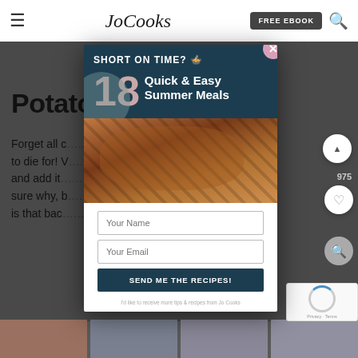Jo Cooks — FREE EBOOK
[Figure (screenshot): Website screenshot of JoCooks.com with a modal popup overlay. The modal advertises '18 Quick & Easy Summer Meals' with a form for name and email, a submit button 'SEND ME THE RECIPES!', and a food photo of grilled meat. Behind the modal, partially visible text reads 'Potato…' as a page title and body text starting 'Forget all c… recipe is to die for! V… potatoes and add it… t exactly, sure why, b… my m… is that bac…']